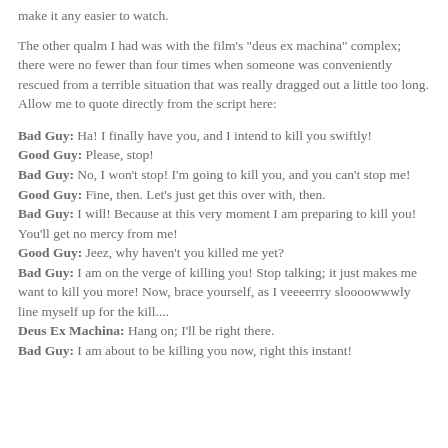make it any easier to watch.
The other qualm I had was with the film's "deus ex machina" complex; there were no fewer than four times when someone was conveniently rescued from a terrible situation that was really dragged out a little too long. Allow me to quote directly from the script here:
Bad Guy: Ha! I finally have you, and I intend to kill you swiftly!
Good Guy: Please, stop!
Bad Guy: No, I won't stop! I'm going to kill you, and you can't stop me!
Good Guy: Fine, then. Let's just get this over with, then.
Bad Guy: I will! Because at this very moment I am preparing to kill you! You'll get no mercy from me!
Good Guy: Jeez, why haven't you killed me yet?
Bad Guy: I am on the verge of killing you! Stop talking; it just makes me want to kill you more! Now, brace yourself, as I veeeerrry sloooowwwly line myself up for the kill....
Deus Ex Machina: Hang on; I'll be right there.
Bad Guy: I am about to be killing you now, right this instant!